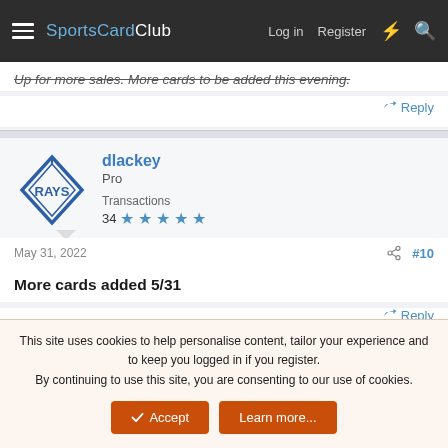SportsCardClub — Log in | Register
Up for more sales. More cards to be added this evening.
Reply
dlackey
Pro
Transactions
34 ★★★★★
May 31, 2022   #10
More cards added 5/31
Reply
dlackey
This site uses cookies to help personalise content, tailor your experience and to keep you logged in if you register.
By continuing to use this site, you are consenting to our use of cookies.
Accept   Learn more...